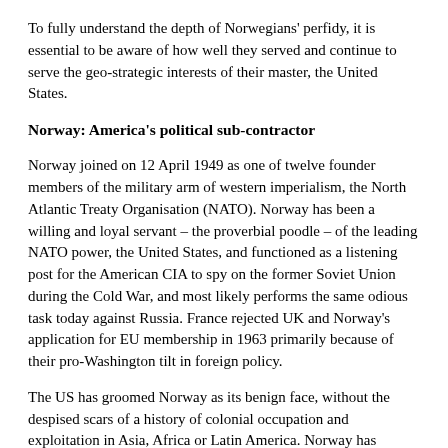To fully understand the depth of Norwegians' perfidy, it is essential to be aware of how well they served and continue to serve the geo-strategic interests of their master, the United States.
Norway: America's political sub-contractor
Norway joined on 12 April 1949 as one of twelve founder members of the military arm of western imperialism, the North Atlantic Treaty Organisation (NATO). Norway has been a willing and loyal servant – the proverbial poodle – of the leading NATO power, the United States, and functioned as a listening post for the American CIA to spy on the former Soviet Union during the Cold War, and most likely performs the same odious task today against Russia. France rejected UK and Norway's application for EU membership in 1963 primarily because of their pro-Washington tilt in foreign policy.
The US has groomed Norway as its benign face, without the despised scars of a history of colonial occupation and exploitation in Asia, Africa or Latin America. Norway has assiduously cultivated its deceptive neutral facade to intervene, without inviting distrust or hostility in most instances, in internal conflicts round the world as the US